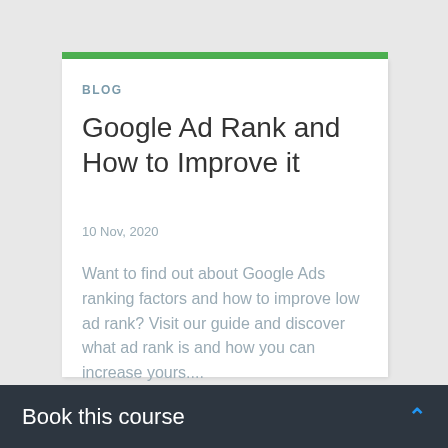BLOG
Google Ad Rank and How to Improve it
10 Nov, 2020
Want to find out about Google Ads ranking factors and how to improve low ad rank? Visit our guide and discover what ad rank is and how you can increase yours....
Book this course